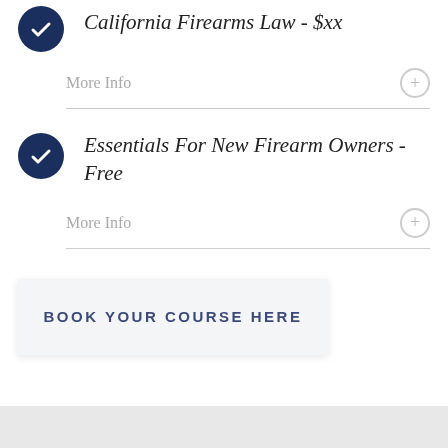California Firearms Law - $xx (truncated title)
More Info
Essentials For New Firearm Owners - Free
More Info
BOOK YOUR COURSE HERE